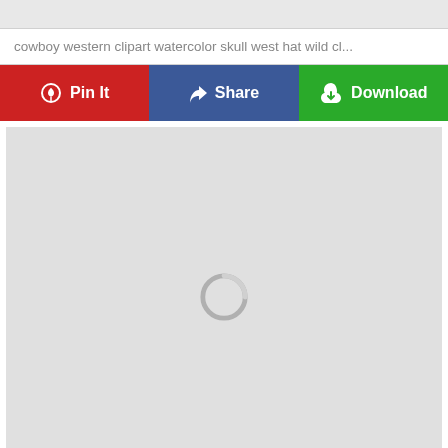cowboy western clipart watercolor skull west hat wild cl...
[Figure (screenshot): Three social sharing buttons: Pin It (red), Share (blue/Facebook), Download (green) with icons]
[Figure (screenshot): Large light gray preview area with a loading spinner in the center]